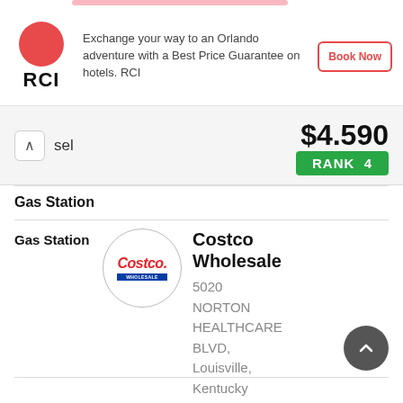[Figure (infographic): RCI advertisement banner with red circle logo, RCI text, ad copy, and Book Now button]
Exchange your way to an Orlando adventure with a Best Price Guarantee on hotels. RCI
Book Now
sel $4.590
RANK 4
Gas Station
Gas Station
[Figure (logo): Costco Wholesale circular logo]
Costco Wholesale
5020 NORTON HEALTHCARE BLVD, Louisville, Kentucky